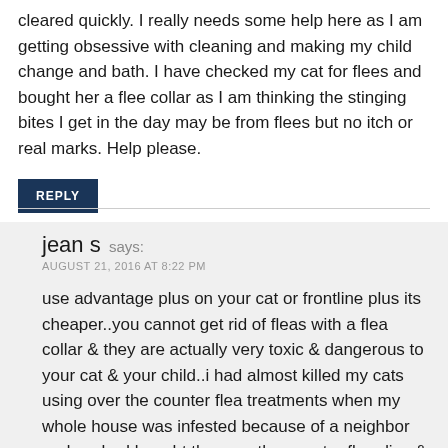cleared quickly. I really needs some help here as I am getting obsessive with cleaning and making my child change and bath. I have checked my cat for flees and bought her a flee collar as I am thinking the stinging bites I get in the day may be from flees but no itch or real marks. Help please.
REPLY
jean s says:
AUGUST 21, 2016 AT 8:22 PM
use advantage plus on your cat or frontline plus its cheaper..you cannot get rid of fleas with a flea collar & they are actually very toxic & dangerous to your cat & your child..i had almost killed my cats using over the counter flea treatments when my whole house was infested because of a neighbor and we had bought the over the counter flea dips & my cats were